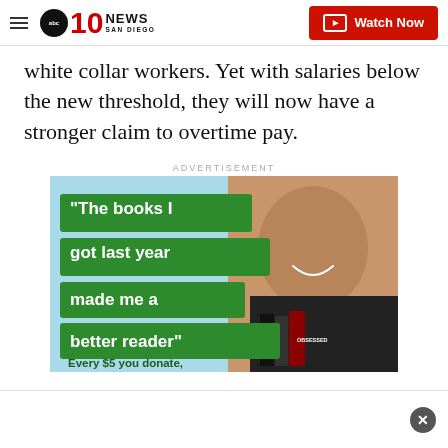10News San Diego | Watch Now
white collar workers. Yet with salaries below the new threshold, they will now have a stronger claim to overtime pay.
ADVERTISEMENT
[Figure (photo): Advertisement showing a smiling young Black boy holding books including one titled 'OBSESSED', with green banner text reading: "The books I got last year made me a better reader" and text below: "Every $5 you donate, [buys a book for a child]" on a light blue background.]